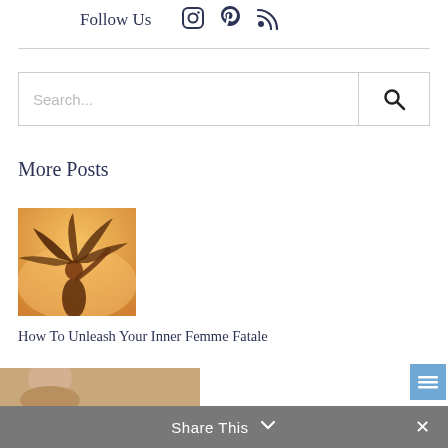Follow Us
[Figure (other): Social media icons: Instagram, Pinterest, RSS feed]
Search...
More Posts
[Figure (photo): Woman with flowing hair backlit by golden sunset light]
How To Unleash Your Inner Femme Fatale
Share This  ✕